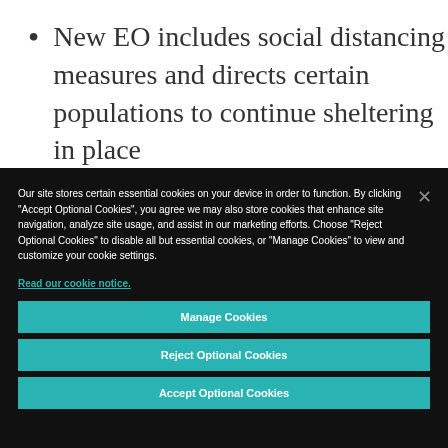New EO includes social distancing measures and directs certain populations to continue sheltering in place
Our site stores certain essential cookies on your device in order to function. By clicking “Accept Optional Cookies”, you agree we may also store cookies that enhance site navigation, analyze site usage, and assist in our marketing efforts. Choose “Reject Optional Cookies” to disable all but essential cookies, or “Manage Cookies” to view and customize your cookie settings.
Read our cookie notice.
Manage Cookies
Reject Optional Cookies
Accept Optional Cookies